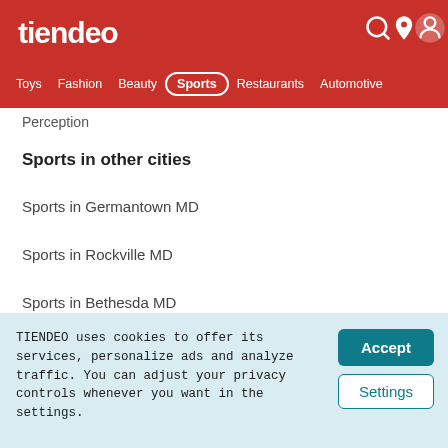tiendeo
Toys  Fashion  Beauty  Sports  Restaurants  Automotive
Perception
Sports in other cities
Sports in Germantown MD
Sports in Rockville MD
Sports in Bethesda MD
Sports in Sterling VA
TIENDEO uses cookies to offer its services, personalize ads and analyze traffic. You can adjust your privacy controls whenever you want in the settings.